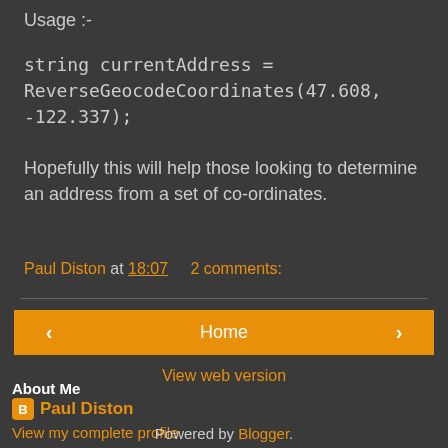Usage :-
string currentAddress = ReverseGeocodeCoordinates(47.608, -122.337);
Hopefully this will help those looking to determine an address from a set of co-ordinates.
Paul Diston at 18:07   2 comments:
< Home >
View web version
About Me
Paul Diston
View my complete profile
Powered by Blogger.